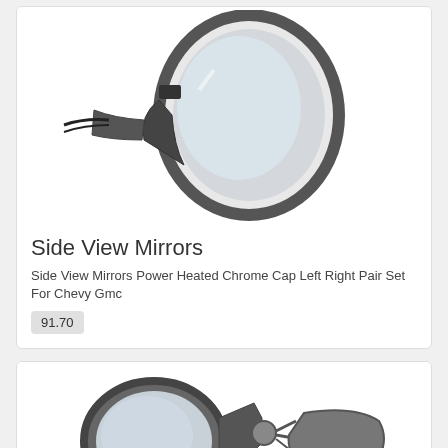[Figure (photo): Side view mirror product photo – single black power heated chrome cap mirror shown from rear angle]
Side View Mirrors
Side View Mirrors Power Heated Chrome Cap Left Right Pair Set For Chevy Gmc
91.70
[Figure (photo): Side view mirror product photo – pair of black side view mirrors with wiring harness and separate cap pieces shown disassembled]